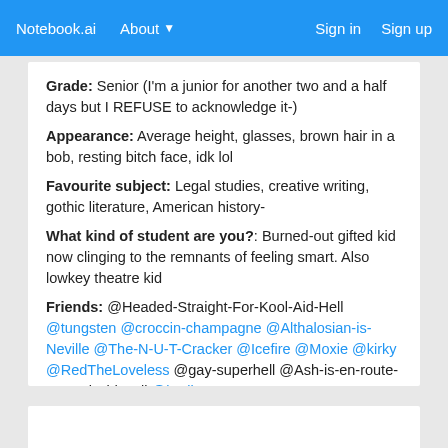Notebook.ai   About ▾   Sign in   Sign up
Grade: Senior (I'm a junior for another two and a half days but I REFUSE to acknowledge it-)
Appearance: Average height, glasses, brown hair in a bob, resting bitch face, idk lol
Favourite subject: Legal studies, creative writing, gothic literature, American history-
What kind of student are you?: Burned-out gifted kid now clinging to the remnants of feeling smart. Also lowkey theatre kid
Friends: @Headed-Straight-For-Kool-Aid-Hell @tungsten @croccin-champagne @Althalosian-is-Neville @The-N-U-T-Cracker @Icefire @Moxie @kirky @RedTheLoveless @gay-superhell @Ash-is-en-route-to-Kool-Aid-Hell @berlioz